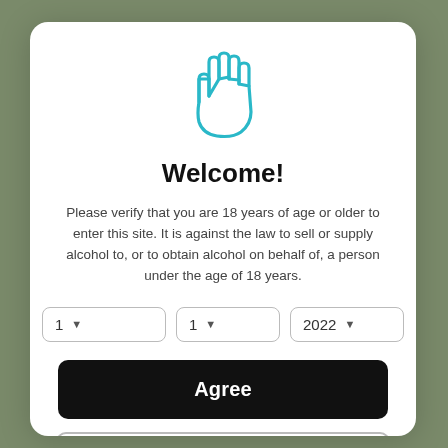[Figure (illustration): Cyan/teal outlined hand icon (stop/halt gesture) centered above the Welcome text]
Welcome!
Please verify that you are 18 years of age or older to enter this site. It is against the law to sell or supply alcohol to, or to obtain alcohol on behalf of, a person under the age of 18 years.
1  |  1  |  2022 (date dropdown fields)
Agree
Disagree